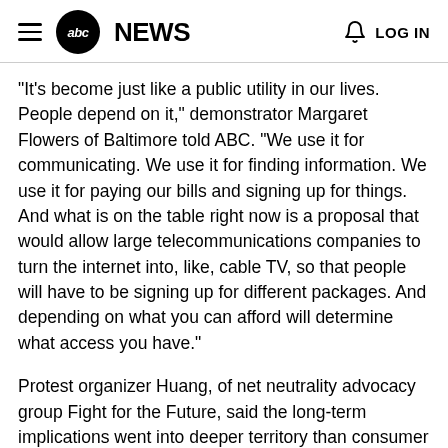abc NEWS  LOG IN
"It's become just like a public utility in our lives. People depend on it," demonstrator Margaret Flowers of Baltimore told ABC. "We use it for communicating. We use it for finding information. We use it for paying our bills and signing up for things. And what is on the table right now is a proposal that would allow large telecommunications companies to turn the internet into, like, cable TV, so that people will have to be signing up for different packages. And depending on what you can afford will determine what access you have."
Protest organizer Huang, of net neutrality advocacy group Fight for the Future, said the long-term implications went into deeper territory than consumer rights.
"Our goal is really to protect the Internet from being discriminated against, censored and blocked. And that's really at the core of being able to express ourselves and